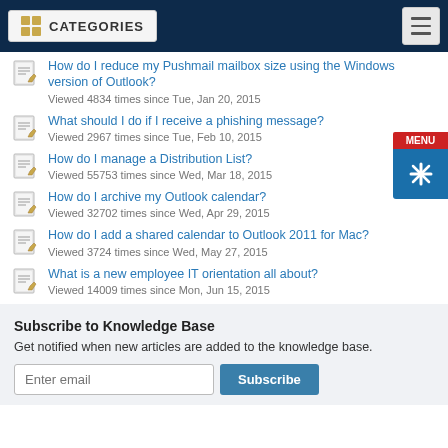CATEGORIES
How do I reduce my Pushmail mailbox size using the Windows version of Outlook?
Viewed 4834 times since Tue, Jan 20, 2015
What should I do if I receive a phishing message?
Viewed 2967 times since Tue, Feb 10, 2015
How do I manage a Distribution List?
Viewed 55753 times since Wed, Mar 18, 2015
How do I archive my Outlook calendar?
Viewed 32702 times since Wed, Apr 29, 2015
How do I add a shared calendar to Outlook 2011 for Mac?
Viewed 3724 times since Wed, May 27, 2015
What is a new employee IT orientation all about?
Viewed 14009 times since Mon, Jun 15, 2015
Subscribe to Knowledge Base
Get notified when new articles are added to the knowledge base.